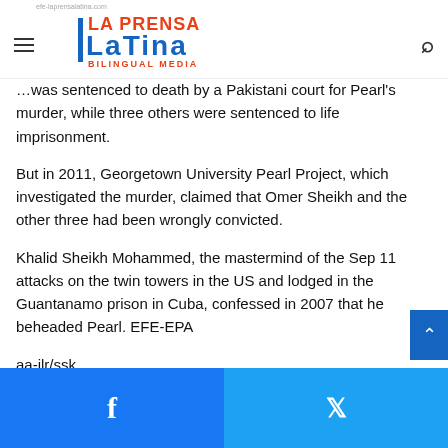La Prensa Latina Bilingual Media
...was sentenced to death by a Pakistani court for Pearl's murder, while three others were sentenced to life imprisonment.
But in 2011, Georgetown University Pearl Project, which investigated the murder, claimed that Omer Sheikh and the other three had been wrongly convicted.
Khalid Sheikh Mohammed, the mastermind of the Sep 11 attacks on the twin towers in the US and lodged in the Guantanamo prison in Cuba, confessed in 2007 that he beheaded Pearl. EFE-EPA
aa-jlr/ssk
Facebook | Twitter